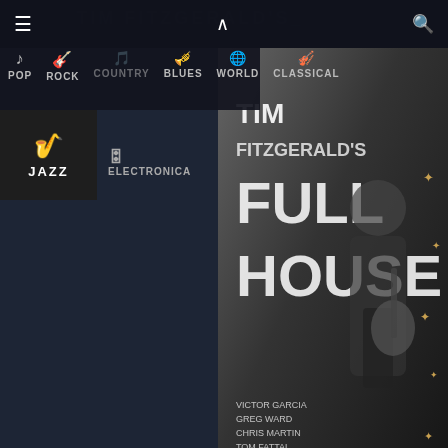[Figure (screenshot): Music review website screenshot showing navigation bar with menu icon, genre categories (POP, ROCK, COUNTRY, BLUES, WORLD, CLASSICAL, JAZZ active, ELECTRONICA), Tim Fitzgerald Full House album cover image with guitarist, review caption 'Tim Fitzgerald, Tim Fitzgerald's Full House Review', and bottom section showing Plinio Fernandes Saudade album cover with guitarist on red/orange background]
Tim Fitzgerald, Tim Fitzgerald's Full House Review
PLÍNIO FERNANDES SAUDADE